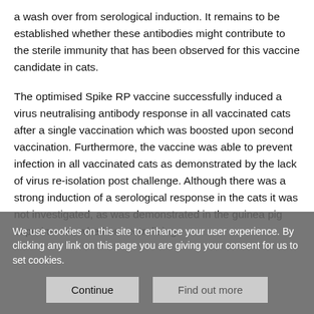a wash over from serological induction. It remains to be established whether these antibodies might contribute to the sterile immunity that has been observed for this vaccine candidate in cats.
The optimised Spike RP vaccine successfully induced a virus neutralising antibody response in all vaccinated cats after a single vaccination which was boosted upon second vaccination. Furthermore, the vaccine was able to prevent infection in all vaccinated cats as demonstrated by the lack of virus re-isolation post challenge. Although there was a strong induction of a serological response in the cats it was not investigated, as was demonstrated in the guinea pig experiments, whether neutralising
We use cookies on this site to enhance your user experience. By clicking any link on this page you are giving your consent for us to set cookies.